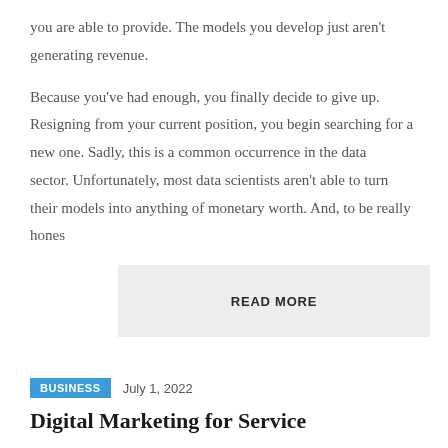you are able to provide. The models you develop just aren't generating revenue.
Because you've had enough, you finally decide to give up. Resigning from your current position, you begin searching for a new one. Sadly, this is a common occurrence in the data sector. Unfortunately, most data scientists aren't able to turn their models into anything of monetary worth. And, to be really hones
READ MORE
BUSINESS    July 1, 2022
Digital Marketing for Service